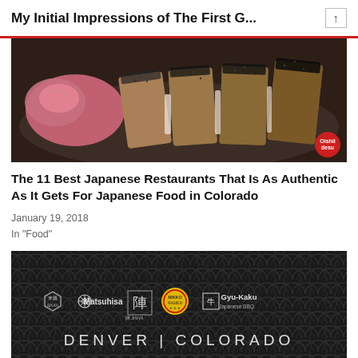My Initial Impressions of The First G...
[Figure (photo): Close-up photo of seared fish slices (tuna/salmon), with a red circular badge reading 'Oishii desu' at bottom right]
The 11 Best Japanese Restaurants That Is As Authentic As It Gets For Japanese Food in Colorado
January 19, 2018
In "Food"
[Figure (infographic): Dark background with Japanese wave pattern, showing restaurant logos: Eikan, Matsuhisa, Jin (with Jinya), Nikko Ramen, Gyu-Kaku Japanese BBQ, and text 'DENVER | COLORADO']